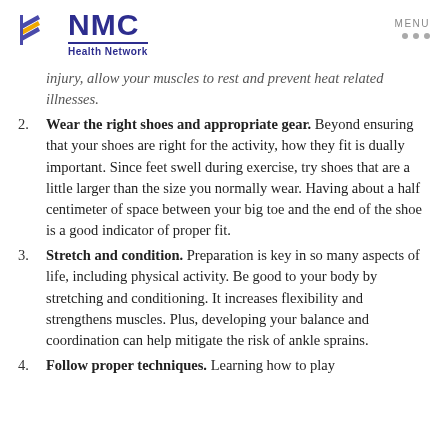NMC Health Network
injury, allow your muscles to rest and prevent heat related illnesses.
Wear the right shoes and appropriate gear. Beyond ensuring that your shoes are right for the activity, how they fit is dually important. Since feet swell during exercise, try shoes that are a little larger than the size you normally wear. Having about a half centimeter of space between your big toe and the end of the shoe is a good indicator of proper fit.
Stretch and condition. Preparation is key in so many aspects of life, including physical activity. Be good to your body by stretching and conditioning. It increases flexibility and strengthens muscles. Plus, developing your balance and coordination can help mitigate the risk of ankle sprains.
Follow proper techniques. Learning how to play